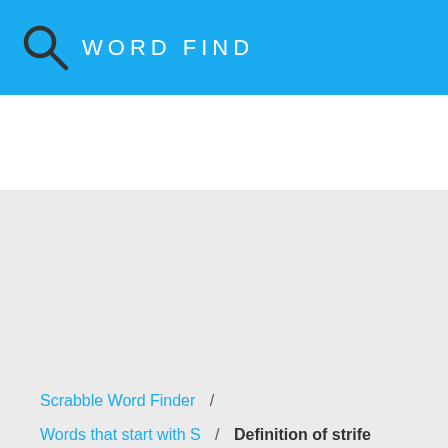WORD FIND
[Figure (other): Large gray empty content area placeholder]
Scrabble Word Finder /
Words that start with S / Definition of strife